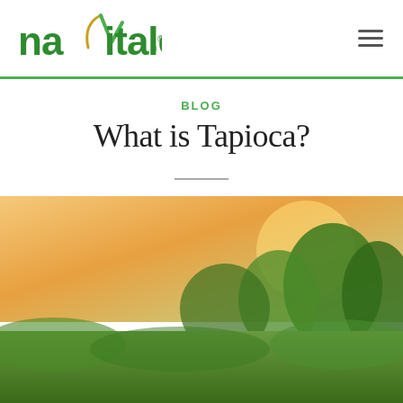navitalo. [logo] [hamburger menu]
BLOG
What is Tapioca?
[Figure (photo): Outdoor landscape photo showing green trees and foliage bathed in warm golden sunlight, used as background for a blog post image card. Overlaid text reads: New Blog Post "What is Tapioca?" with chevron/arrow graphics. A partially visible cookie consent overlay appears on the left side with links to Privacy Policy and Cookie settings.]